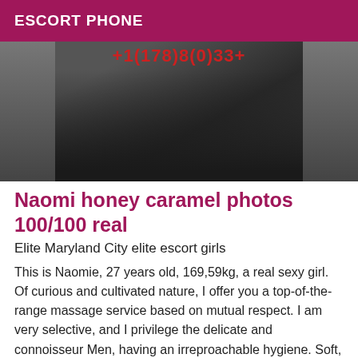ESCORT PHONE
[Figure (photo): Photo of a woman in black stockings, partially visible, with red text overlay showing a phone number]
Naomi honey caramel photos 100/100 real
Elite Maryland City elite escort girls
This is Naomie, 27 years old, 169,59kg, a real sexy girl. Of curious and cultivated nature, I offer you a top-of-the-range massage service based on mutual respect. I am very selective, and I privilege the delicate and connoisseur Men, having an irreproachable hygiene. Soft, you will be immediately bewitched by the softness of my skin, color honey, caramel, I receive you in my private apartment, discreet and cosy, can move me also in your hotel in the city center, why not for a dinner face...